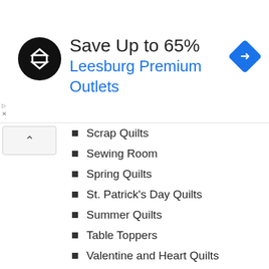[Figure (screenshot): Advertisement banner: Save Up to 65% Leesburg Premium Outlets, with a circular black logo with white arrows on the left and a blue diamond navigation icon on the right]
Scrap Quilts
Sewing Room
Spring Quilts
St. Patrick's Day Quilts
Summer Quilts
Table Toppers
Valentine and Heart Quilts
Wall Quilts
Winter Quilts
FIND US ON PINTEREST
[Figure (photo): Two Pinterest image thumbnails: a green hexagon flower quilt pattern and a wooden picture frame]